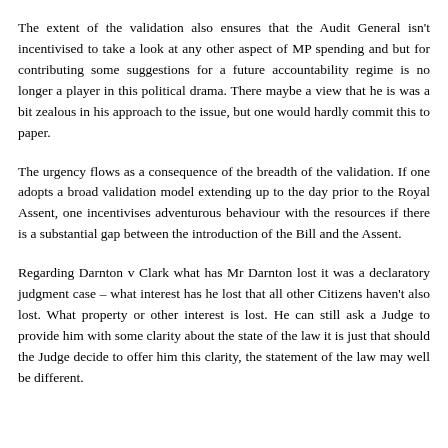The extent of the validation also ensures that the Audit General isn't incentivised to take a look at any other aspect of MP spending and but for contributing some suggestions for a future accountability regime is no longer a player in this political drama. There maybe a view that he is was a bit zealous in his approach to the issue, but one would hardly commit this to paper.
The urgency flows as a consequence of the breadth of the validation. If one adopts a broad validation model extending up to the day prior to the Royal Assent, one incentivises adventurous behaviour with the resources if there is a substantial gap between the introduction of the Bill and the Assent.
Regarding Darnton v Clark what has Mr Darnton lost it was a declaratory judgment case – what interest has he lost that all other Citizens haven't also lost. What property or other interest is lost. He can still ask a Judge to provide him with some clarity about the state of the law it is just that should the Judge decide to offer him this clarity, the statement of the law may well be different.